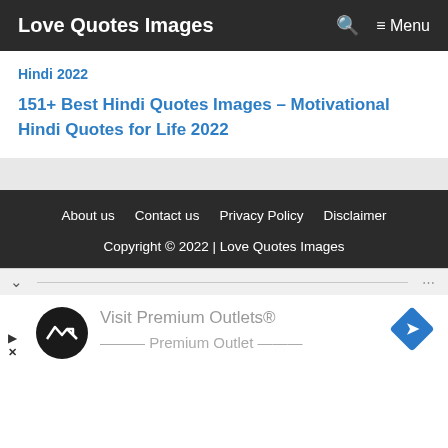Love Quotes Images  🔍  ≡ Menu
Hindi 2022
151+ Best Hindi Quotes Images – Motivational Hindi Quotes for Life 2022
About us   Contact us   Privacy Policy   Disclaimer
Copyright © 2022 | Love Quotes Images
[Figure (screenshot): Advertisement banner for Visit Premium Outlets® with circular logo icon and blue diamond navigation icon on the right.]